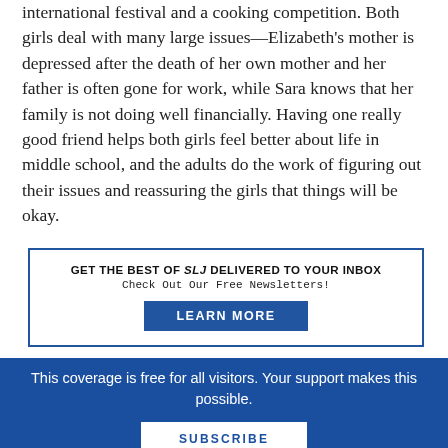international festival and a cooking competition. Both girls deal with many large issues—Elizabeth's mother is depressed after the death of her own mother and her father is often gone for work, while Sara knows that her family is not doing well financially. Having one really good friend helps both girls feel better about life in middle school, and the adults do the work of figuring out their issues and reassuring the girls that things will be okay.
GET THE BEST OF SLJ DELIVERED TO YOUR INBOX
Check Out Our Free Newsletters!
LEARN MORE
This coverage is free for all visitors. Your support makes this possible.
SUBSCRIBE